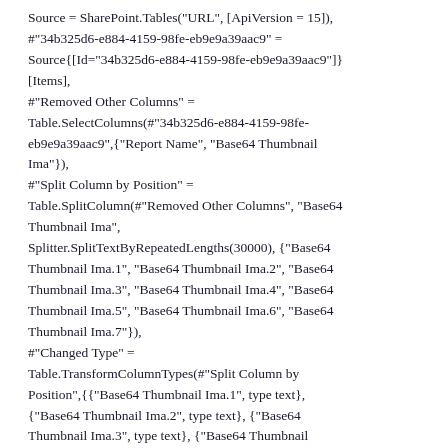Source = SharePoint.Tables("URL", [ApiVersion = 15]),
#"34b325d6-e884-4159-98fe-eb9e9a39aac9" = Source{[Id="34b325d6-e884-4159-98fe-eb9e9a39aac9"]}[Items],
#"Removed Other Columns" = Table.SelectColumns(#"34b325d6-e884-4159-98fe-eb9e9a39aac9",{"Report Name", "Base64 Thumbnail Ima"}),
#"Split Column by Position" = Table.SplitColumn(#"Removed Other Columns", "Base64 Thumbnail Ima", Splitter.SplitTextByRepeatedLengths(30000), {"Base64 Thumbnail Ima.1", "Base64 Thumbnail Ima.2", "Base64 Thumbnail Ima.3", "Base64 Thumbnail Ima.4", "Base64 Thumbnail Ima.5", "Base64 Thumbnail Ima.6", "Base64 Thumbnail Ima.7"}),
#"Changed Type" = Table.TransformColumnTypes(#"Split Column by Position",{{"Base64 Thumbnail Ima.1", type text}, {"Base64 Thumbnail Ima.2", type text}, {"Base64 Thumbnail Ima.3", type text}, {"Base64 Thumbnail